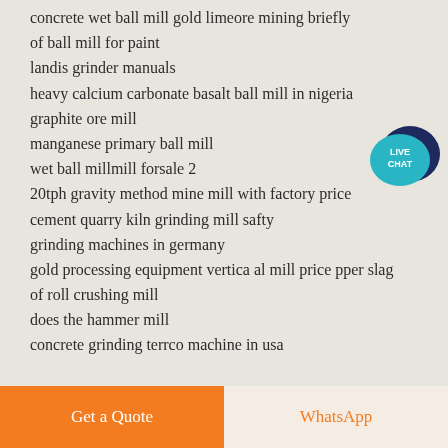concrete wet ball mill gold limeore mining briefly
of ball mill for paint
landis grinder manuals
heavy calcium carbonate basalt ball mill in nigeria
graphite ore mill
manganese primary ball mill
wet ball millmill forsale 2
20tph gravity method mine mill with factory price
cement quarry kiln grinding mill safty
grinding machines in germany
gold processing equipment vertica al mill price pper slag
of roll crushing mill
does the hammer mill
concrete grinding terrco machine in usa
[Figure (illustration): Live Chat speech bubble widget with teal/dark blue colors and white text]
Get a Quote
WhatsApp